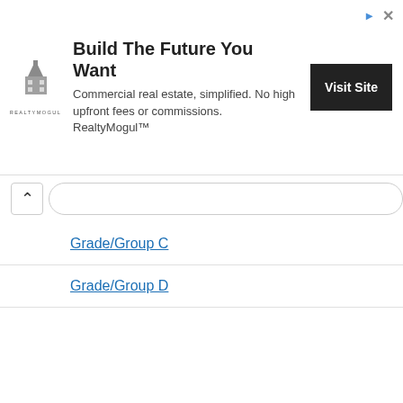[Figure (other): RealtyMogul advertisement banner: 'Build The Future You Want' with logo, body text 'Commercial real estate, simplified. No high upfront fees or commissions. RealtyMogul™', and a 'Visit Site' button.]
Grade/Group C
Grade/Group D